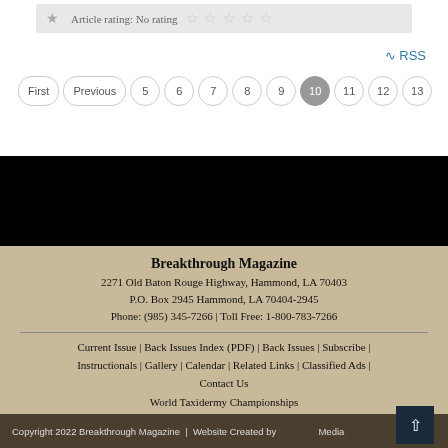Article rating: No rating
RSS
First Previous 5 6 7 8 9 10 11 12 13
Breakthrough Magazine
2271 Old Baton Rouge Highway, Hammond, LA 70403
P.O. Box 2945 Hammond, LA 70404-2945
Phone: (985) 345-7266 | Toll Free: 1-800-783-7266
Current Issue | Back Issues Index (PDF) | Back Issues | Subscribe | Instructionals | Gallery | Calendar | Related Links | Classified Ads | Contact Us
World Taxidermy Championships
Copyright 2022 Breakthrough Magazine | Website Created by Media